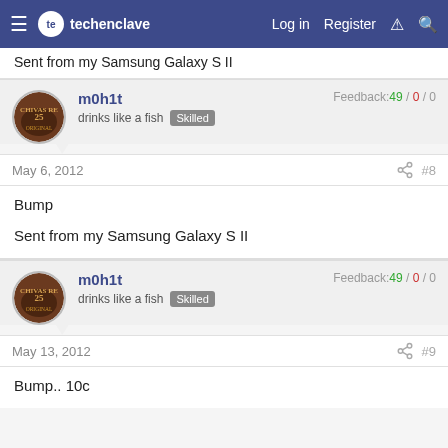techenclave  Log in  Register
Sent from my Samsung Galaxy S II
m0h1t
drinks like a fish  Skilled
Feedback:49 / 0 / 0
May 6, 2012  #8
Bump

Sent from my Samsung Galaxy S II
m0h1t
drinks like a fish  Skilled
Feedback:49 / 0 / 0
May 13, 2012  #9
Bump.. 10c